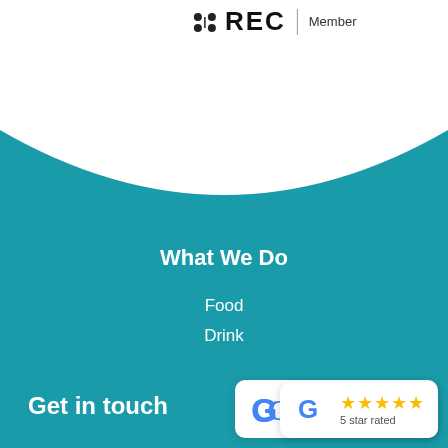[Figure (logo): REC Member logo at top center with dot grid and vertical divider]
[Figure (illustration): White curved arc over teal background creating wave/arch shape]
What We Do
Food
Drink
Get in touch
[Figure (other): Google 5 star rated badge with gold stars and Google G logo]